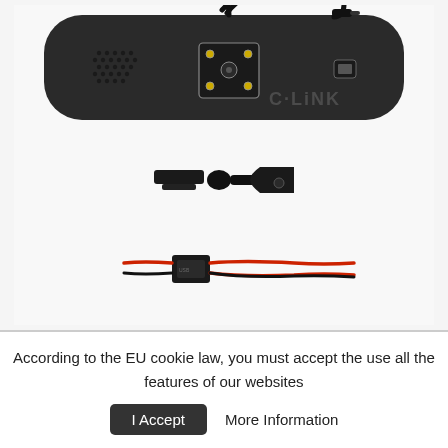[Figure (photo): Product photo showing three components: a rear-view mirror monitor with C-LINK watermark (back view with speaker grille, mounting bracket connector, and power cable), a ball-joint mounting bracket, and a small power adapter module with red and black wires, all on white background.]
According to the EU cookie law, you must accept the use all the features of our websites
I Accept   More Information